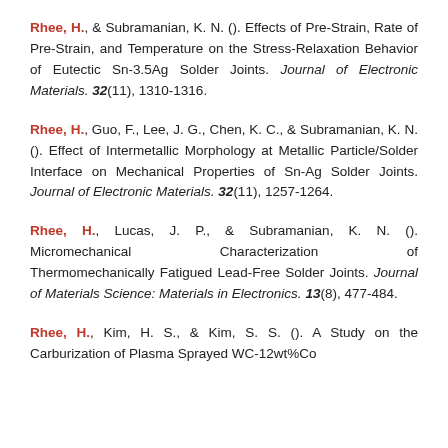Rhee, H., & Subramanian, K. N. (). Effects of Pre-Strain, Rate of Pre-Strain, and Temperature on the Stress-Relaxation Behavior of Eutectic Sn-3.5Ag Solder Joints. Journal of Electronic Materials. 32(11), 1310-1316.
Rhee, H., Guo, F., Lee, J. G., Chen, K. C., & Subramanian, K. N. (). Effect of Intermetallic Morphology at Metallic Particle/Solder Interface on Mechanical Properties of Sn-Ag Solder Joints. Journal of Electronic Materials. 32(11), 1257-1264.
Rhee, H., Lucas, J. P., & Subramanian, K. N. (). Micromechanical Characterization of Thermomechanically Fatigued Lead-Free Solder Joints. Journal of Materials Science: Materials in Electronics. 13(8), 477-484.
Rhee, H., Kim, H. S., & Kim, S. S. (). A Study on the Carburization of Plasma Sprayed WC-12wt%Co Coatings...